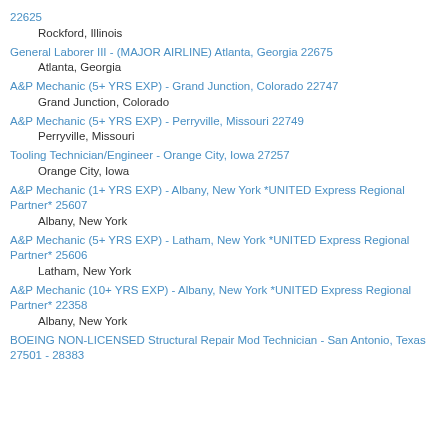22625
Rockford, Illinois
General Laborer III - (MAJOR AIRLINE) Atlanta, Georgia 22675
Atlanta, Georgia
A&P Mechanic (5+ YRS EXP) - Grand Junction, Colorado 22747
Grand Junction, Colorado
A&P Mechanic (5+ YRS EXP) - Perryville, Missouri 22749
Perryville, Missouri
Tooling Technician/Engineer - Orange City, Iowa 27257
Orange City, Iowa
A&P Mechanic (1+ YRS EXP) - Albany, New York *UNITED Express Regional Partner* 25607
Albany, New York
A&P Mechanic (5+ YRS EXP) - Latham, New York *UNITED Express Regional Partner* 25606
Latham, New York
A&P Mechanic (10+ YRS EXP) - Albany, New York *UNITED Express Regional Partner* 22358
Albany, New York
BOEING NON-LICENSED Structural Repair Mod Technician - San Antonio, Texas 27501 - 28383